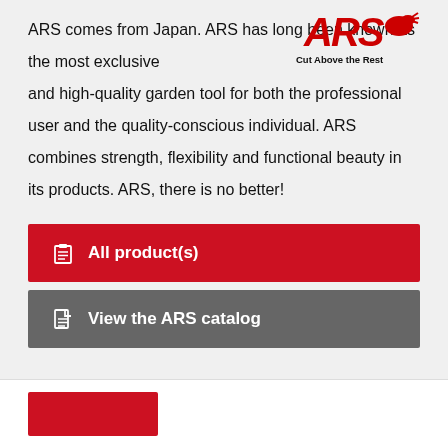[Figure (logo): ARS logo with red bold italic text 'ARS' and tagline 'Cut Above the Rest' with a mascot/graphic element]
ARS comes from Japan. ARS has long been known as the most exclusive and high-quality garden tool for both the professional user and the quality-conscious individual. ARS combines strength, flexibility and functional beauty in its products. ARS, there is no better!
All product(s)
View the ARS catalog